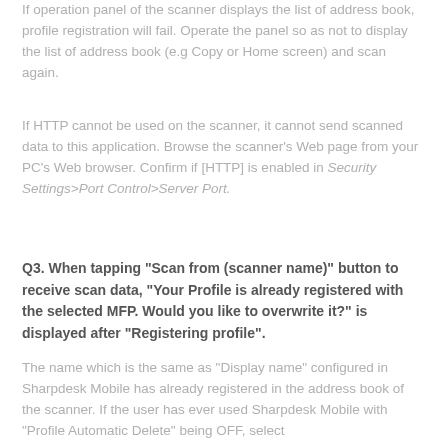If operation panel of the scanner displays the list of address book, profile registration will fail. Operate the panel so as not to display the list of address book (e.g Copy or Home screen) and scan again.
If HTTP cannot be used on the scanner, it cannot send scanned data to this application. Browse the scanner's Web page from your PC's Web browser. Confirm if [HTTP] is enabled in Security Settings>Port Control>Server Port.
Q3. When tapping "Scan from (scanner name)" button to receive scan data, "Your Profile is already registered with the selected MFP. Would you like to overwrite it?" is displayed after "Registering profile".
The name which is the same as "Display name" configured in Sharpdesk Mobile has already registered in the address book of the scanner. If the user has ever used Sharpdesk Mobile with "Profile Automatic Delete" being OFF, select